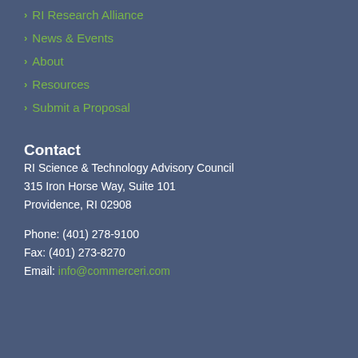> RI Research Alliance
> News & Events
> About
> Resources
> Submit a Proposal
Contact
RI Science & Technology Advisory Council
315 Iron Horse Way, Suite 101
Providence, RI 02908
Phone: (401) 278-9100
Fax: (401) 273-8270
Email: info@commerceri.com